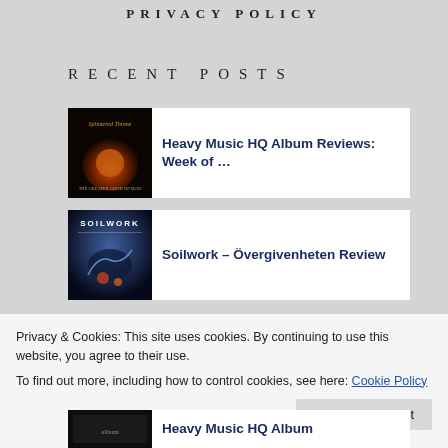PRIVACY POLICY
RECENT POSTS
[Figure (photo): Album cover for Splintered Throne - The Greater Good of Man]
Heavy Music HQ Album Reviews: Week of …
[Figure (photo): Album cover for Soilwork - Övergivenheten]
Soilwork – Övergivenheten Review
Privacy & Cookies: This site uses cookies. By continuing to use this website, you agree to their use.
To find out more, including how to control cookies, see here: Cookie Policy
Close and accept
[Figure (photo): Album cover thumbnail (third post)]
Heavy Music HQ Album